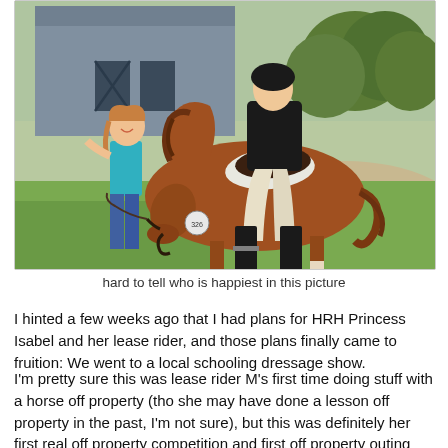[Figure (photo): A chestnut horse wearing number 326 grazing on grass, with a rider in equestrian attire (black jacket, white breeches, tall boots) seated on it, and a smiling young girl in a teal top standing beside the horse. A grey barn building and trees are visible in the background.]
hard to tell who is happiest in this picture
I hinted a few weeks ago that I had plans for HRH Princess Isabel and her lease rider, and those plans finally came to fruition: We went to a local schooling dressage show.
I'm pretty sure this was lease rider M's first time doing stuff with a horse off property (tho she may have done a lesson off property in the past, I'm not sure), but this was definitely her first real off property competition and first off property outing with Isabel.